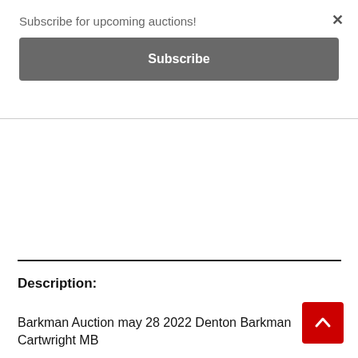Subscribe for upcoming auctions!
Subscribe
Description:
Barkman Auction may 28 2022 Denton Barkman Cartwright MB